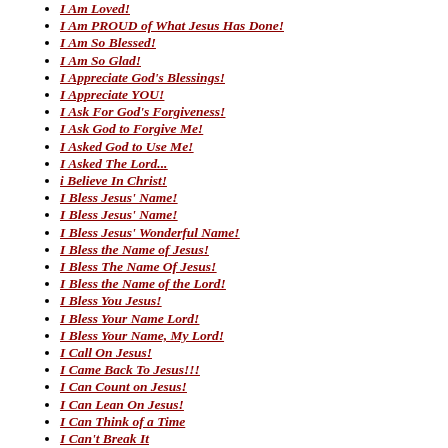I Am Loved!
I Am PROUD of What Jesus Has Done!
I Am So Blessed!
I Am So Glad!
I Appreciate God's Blessings!
I Appreciate YOU!
I Ask For God's Forgiveness!
I Ask God to Forgive Me!
I Asked God to Use Me!
I Asked The Lord...
i Believe In Christ!
I Bless Jesus' Name!
I Bless Jesus' Name!
I Bless Jesus' Wonderful Name!
I Bless the Name of Jesus!
I Bless The Name Of Jesus!
I Bless the Name of the Lord!
I Bless You Jesus!
I Bless Your Name Lord!
I Bless Your Name, My Lord!
I Call On Jesus!
I Came Back To Jesus!!!
I Can Count on Jesus!
I Can Lean On Jesus!
I Can Think of a Time
I Can't Break It
I Can't Do It... Without YOU Lord!
I Can't Do This Anymore!
I Can't Explain God's Love!
I Can't Explain Jesus' Love!
I Can't Feel God!